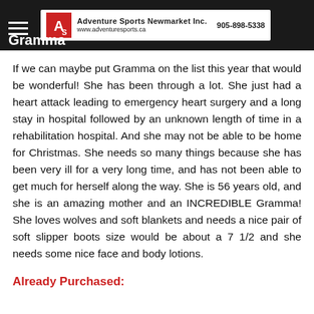Adventure Sports Newmarket Inc. www.adventuresports.ca 905-898-5338
Gramma
If we can maybe put Gramma on the list this year that would be wonderful! She has been through a lot. She just had a heart attack leading to emergency heart surgery and a long stay in hospital followed by an unknown length of time in a rehabilitation hospital. And she may not be able to be home for Christmas. She needs so many things because she has been very ill for a very long time, and has not been able to get much for herself along the way. She is 56 years old, and she is an amazing mother and an INCREDIBLE Gramma! She loves wolves and soft blankets and needs a nice pair of soft slipper boots size would be about a 7 1/2 and she needs some nice face and body lotions.
Already Purchased: